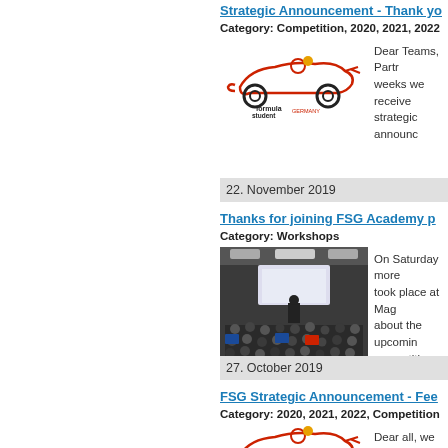Strategic Announcement - Thank yo
Category: Competition, 2020, 2021, 2022
[Figure (logo): Formula Student Germany logo]
Dear Teams, Partr... weeks we receive... strategic announc...
22. November 2019
Thanks for joining FSG Academy p
Category: Workshops
[Figure (photo): Audience at FSG Academy event in a hall]
On Saturday more... took place at Mag... about the upcomin... competition, the...
27. October 2019
FSG Strategic Announcement - Fee
Category: 2020, 2021, 2022, Competition
[Figure (logo): Formula Student Germany logo]
Dear all, we knew... want to react to so... aware of that. Wh...